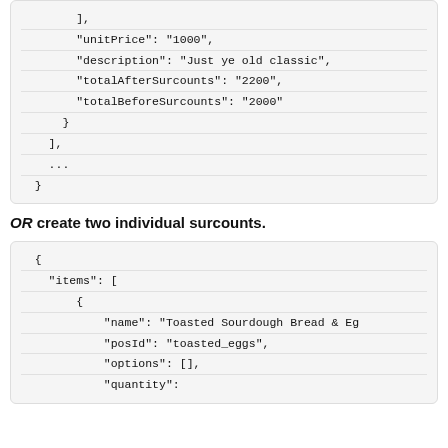],
"unitPrice": "1000",
"description": "Just ye old classic",
"totalAfterSurcounts": "2200",
"totalBeforeSurcounts": "2000"
}
],
...
}
OR create two individual surcounts.
{
"items": [
{
"name": "Toasted Sourdough Bread & Eg
"posId": "toasted_eggs",
"options": [],
"quantity":